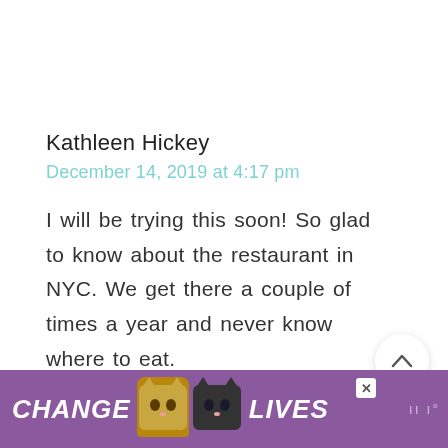Kathleen Hickey
December 14, 2019 at 4:17 pm
I will be trying this soon! So glad to know about the restaurant in NYC. We get there a couple of times a year and never know where to eat.
REPLY
[Figure (screenshot): Floating UI buttons: scroll-up chevron button, like/heart button with count 583, and teal search button]
[Figure (screenshot): Advertisement banner: purple background with CHANGE LIVES text, cat images, close button, and logo]